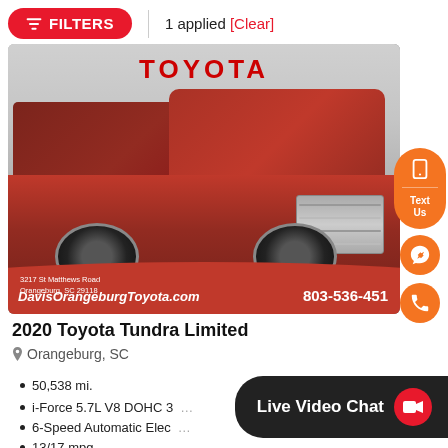FILTERS | 1 applied [Clear]
[Figure (photo): Red 2020 Toyota Tundra Limited pickup truck parked at Davis Orangeburg Toyota dealership. Dealership signage visible in background. Red banner at bottom with DavisOrangeburgToyota.com and phone 803-536-451]
2020 Toyota Tundra Limited
Orangeburg, SC
50,538 mi.
i-Force 5.7L V8 DOHC 3…
6-Speed Automatic Elec…
13/17 mpg
Live Video Chat